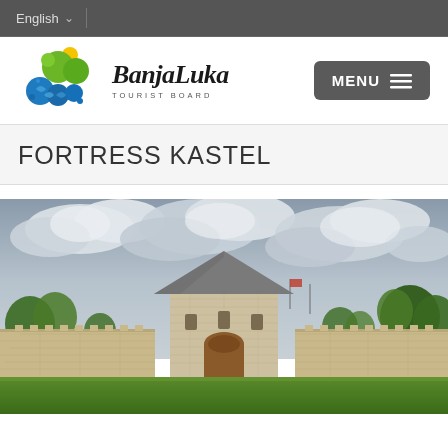English
[Figure (logo): Banja Luka Tourist Board logo with colorful circular shapes and stylized text]
FORTRESS KASTEL
[Figure (photo): Photograph of Fortress Kastel in Banja Luka - a stone fortress wall with a central tower and arched gate, green lawn in foreground, cloudy sky]